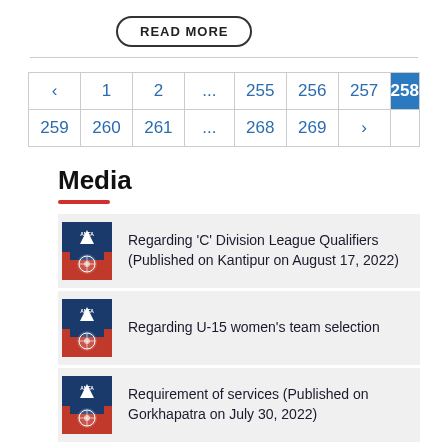[Figure (other): READ MORE button with rounded border]
| ‹ | 1 | 2 | ... | 255 | 256 | 257 | 258 |
| 259 | 260 | 261 | ... | 268 | 269 | › |
Media
Regarding 'C' Division League Qualifiers (Published on Kantipur on August 17, 2022)
Regarding U-15 women's team selection
Requirement of services (Published on Gorkhapatra on July 30, 2022)